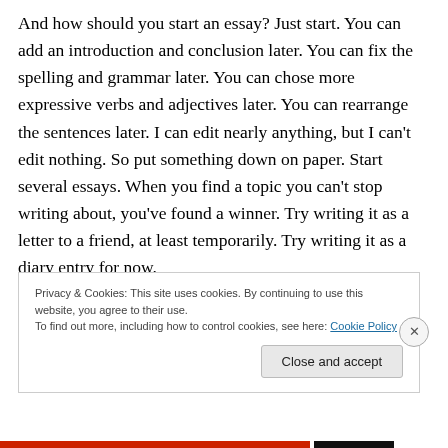And how should you start an essay? Just start. You can add an introduction and conclusion later. You can fix the spelling and grammar later. You can chose more expressive verbs and adjectives later. You can rearrange the sentences later. I can edit nearly anything, but I can't edit nothing. So put something down on paper. Start several essays. When you find a topic you can't stop writing about, you've found a winner. Try writing it as a letter to a friend, at least temporarily. Try writing it as a diary entry for now.
Privacy & Cookies: This site uses cookies. By continuing to use this website, you agree to their use.
To find out more, including how to control cookies, see here: Cookie Policy